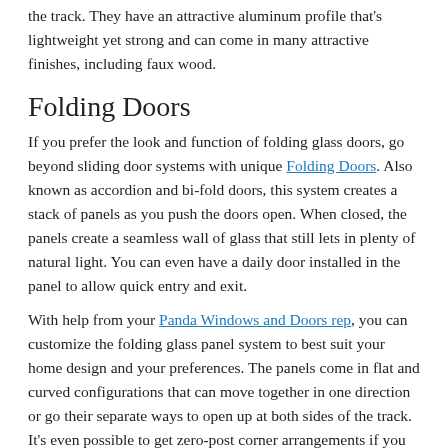the track. They have an attractive aluminum profile that's lightweight yet strong and can come in many attractive finishes, including faux wood.
Folding Doors
If you prefer the look and function of folding glass doors, go beyond sliding door systems with unique Folding Doors. Also known as accordion and bi-fold doors, this system creates a stack of panels as you push the doors open. When closed, the panels create a seamless wall of glass that still lets in plenty of natural light. You can even have a daily door installed in the panel to allow quick entry and exit.
With help from your Panda Windows and Doors rep, you can customize the folding glass panel system to best suit your home design and your preferences. The panels come in flat and curved configurations that can move together in one direction or go their separate ways to open up at both sides of the track. It's even possible to get zero-post corner arrangements if you want to accentuate the view.